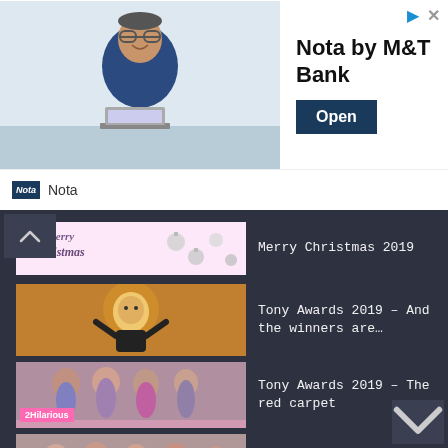[Figure (screenshot): Advertisement banner for Nota by M&T Bank with photo of smiling man in glasses at desk, Open button, and Nota logo/label at bottom]
[Figure (photo): Merry Christmas 2019 thumbnail with Christmas card style image showing Merry Christmas text and ornaments]
Merry Christmas 2019
[Figure (photo): Tony Awards 2019 thumbnail showing performer in lion costume]
Tony Awards 2019 – And the winners are…
[Figure (photo): Tony Awards 2019 red carpet thumbnail with 2Hilarious label]
Tony Awards 2019 – The red carpet
[Figure (photo): BET Awards 2019 nominees thumbnail with 2Hilarious label]
BET Awards 2019 – The nominees are…